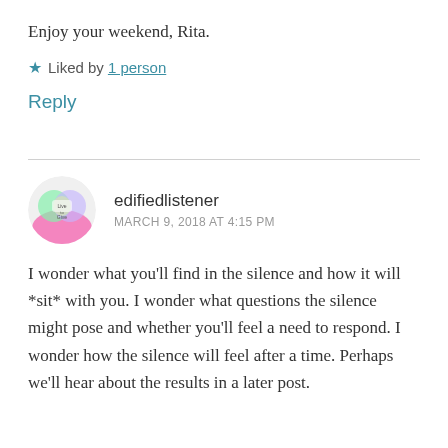Enjoy your weekend, Rita.
★ Liked by 1 person
Reply
edifiedlistener
MARCH 9, 2018 AT 4:15 PM
I wonder what you'll find in the silence and how it will *sit* with you. I wonder what questions the silence might pose and whether you'll feel a need to respond. I wonder how the silence will feel after a time. Perhaps we'll hear about the results in a later post.